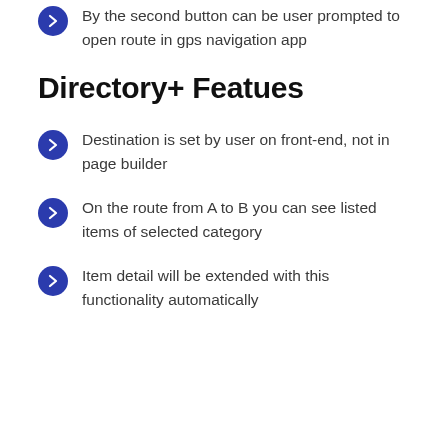By the second button can be user prompted to open route in gps navigation app
Directory+ Featues
Destination is set by user on front-end, not in page builder
On the route from A to B you can see listed items of selected category
Item detail will be extended with this functionality automatically